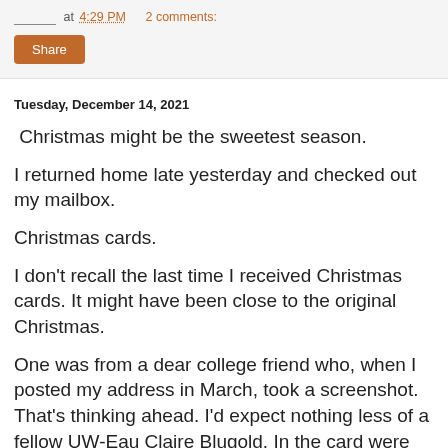____ at 4:29 PM   2 comments:
Share
Tuesday, December 14, 2021
Christmas might be the sweetest season.
I returned home late yesterday and checked out my mailbox.
Christmas cards.
I don't recall the last time I received Christmas cards. It might have been close to the original Christmas.
One was from a dear college friend who, when I posted my address in March, took a screenshot. That's thinking ahead. I'd expect nothing less of a fellow UW-Eau Claire Blugold. In the card were photos of her beautiful family.
Another one was from a blog reader -- I'm not naming anyone so I think they deserve their privacy. But how sweet